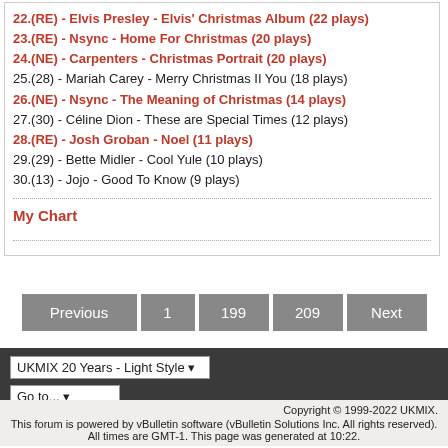22.(RE) - Elvis Presley - Elvis' Christmas Album (22 plays)
23.(RE) - Nsync - Home For Christmas (20 plays)
24.(NE) - Carpenters - Christmas Portrait (20 plays)
25.(28) - Mariah Carey - Merry Christmas II You (18 plays)
26.(NE) - Nsync - The Meaning of Christmas (14 plays)
27.(30) - Céline Dion - These are Special Times (12 plays)
28.(RE) - Josh Groban - Noel (11 plays)
29.(29) - Bette Midler - Cool Yule (10 plays)
30.(13) - Jojo - Good To Know (9 plays)
My Chart
Previous 1 199 209 Next
UKMIX 20 Years - Light Style
Go to...
Copyright © 1999-2022 UKMIX. This forum is powered by vBulletin software (vBulletin Solutions Inc. All rights reserved). All times are GMT-1. This page was generated at 10:22.